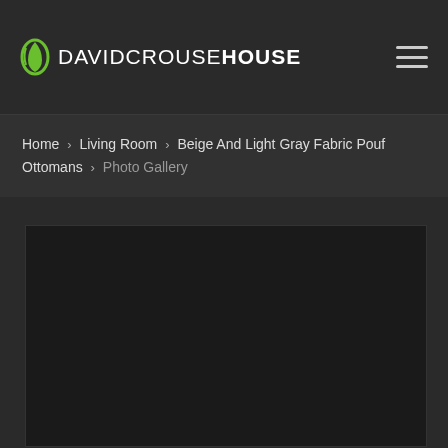DAVIDCROUSEHOUSE
Home › Living Room › Beige And Light Gray Fabric Pouf Ottomans › Photo Gallery
[Figure (photo): Dark/empty photo gallery image area for Beige And Light Gray Fabric Pouf Ottomans]